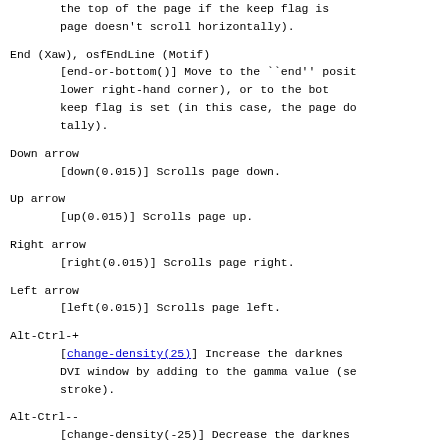the top of the page if the keep flag is set (in this case, the page doesn't scroll horizontally).
End (Xaw), osfEndLine (Motif)
[end-or-bottom()] Move to the ``end'' position (lower right-hand corner), or to the bottom of the keep flag is set (in this case, the page doesn't scroll horizontally).
Down arrow
[down(0.015)] Scrolls page down.
Up arrow
[up(0.015)] Scrolls page up.
Right arrow
[right(0.015)] Scrolls page right.
Left arrow
[left(0.015)] Scrolls page left.
Alt-Ctrl-+
[change-density(25)] Increase the darkness of the DVI window by adding to the gamma value (see keystroke).
Alt-Ctrl--
[change-density(-25)] Decrease the darkness of the DVI window by subtracting from the gamma value (see keystroke).